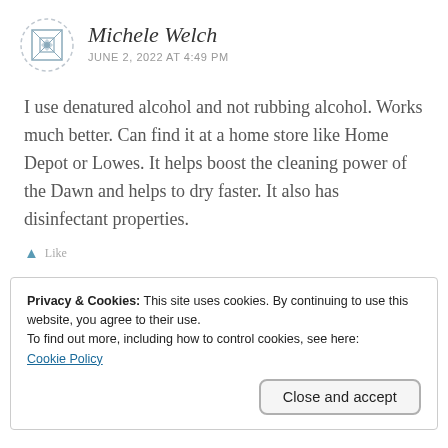Michele Welch
JUNE 2, 2022 AT 4:49 PM
I use denatured alcohol and not rubbing alcohol. Works much better. Can find it at a home store like Home Depot or Lowes. It helps boost the cleaning power of the Dawn and helps to dry faster. It also has disinfectant properties.
Privacy & Cookies: This site uses cookies. By continuing to use this website, you agree to their use.
To find out more, including how to control cookies, see here:
Cookie Policy
Close and accept